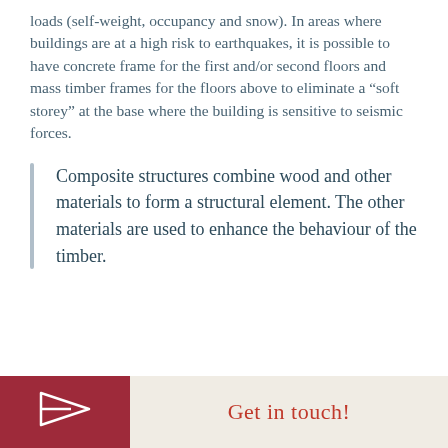loads (self-weight, occupancy and snow). In areas where buildings are at a high risk to earthquakes, it is possible to have concrete frame for the first and/or second floors and mass timber frames for the floors above to eliminate a “soft storey” at the base where the building is sensitive to seismic forces.
Composite structures combine wood and other materials to form a structural element. The other materials are used to enhance the behaviour of the timber.
Get in touch!